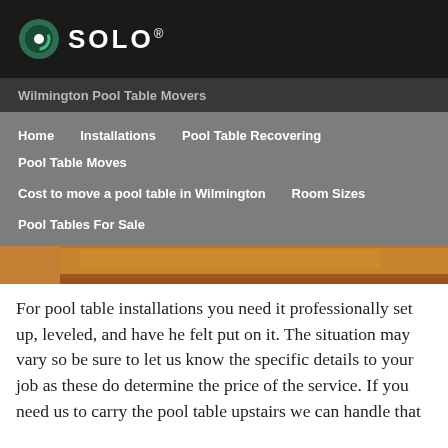SOLO®
Wilmington Pool Table Movers
Home
Installations
Pool Table Recovering
Pool Table Moves
Cost to move a pool table in Wilmington
Room Sizes
Pool Tables For Sale
[Figure (photo): Partial view of a wooden pool table surface with brown/orange felt or wood tones, partially visible]
For pool table installations you need it professionally set up, leveled, and have he felt put on it. The situation may vary so be sure to let us know the specific details to your job as these do determine the price of the service. If you need us to carry the pool table upstairs we can handle that